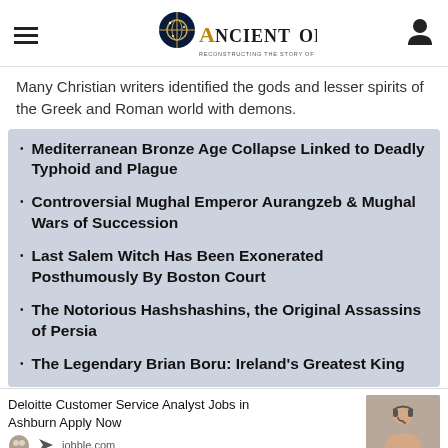Ancient Origins — Reconstructing the Story of Humanity's Past
Many Christian writers identified the gods and lesser spirits of the Greek and Roman world with demons.
Mediterranean Bronze Age Collapse Linked to Deadly Typhoid and Plague
Controversial Mughal Emperor Aurangzeb & Mughal Wars of Succession
Last Salem Witch Has Been Exonerated Posthumously By Boston Court
The Notorious Hashshashins, the Original Assassins of Persia
The Legendary Brian Boru: Ireland's Greatest King
Deloitte Customer Service Analyst Jobs in Ashburn Apply Now — jobble.com
TOP NEW STORIES